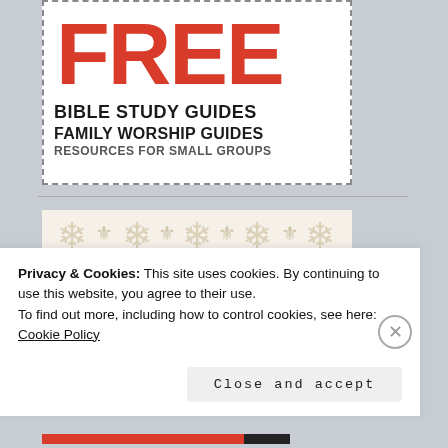[Figure (infographic): Coupon-style banner with dashed border. Large red 'FREE' text at top, followed by 'BIBLE STUDY GUIDES', 'FAMILY WORSHIP GUIDES', 'RESOURCES FOR SMALL GROUPS' in bold black text.]
[Figure (illustration): Decorative image with cream/beige fleur-de-lis and snowflake pattern background, with a brown crown and colorful banner/ribbon in the center.]
Privacy & Cookies: This site uses cookies. By continuing to use this website, you agree to their use.
To find out more, including how to control cookies, see here: Cookie Policy
Close and accept